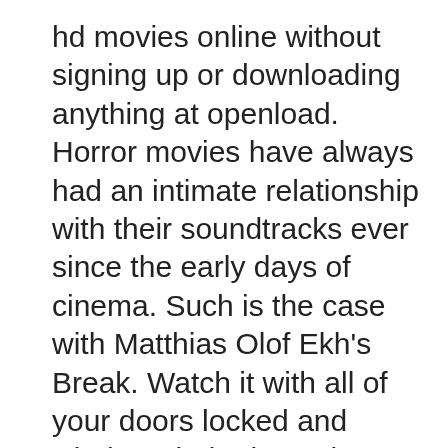hd movies online without signing up or downloading anything at openload. Horror movies have always had an intimate relationship with their soundtracks ever since the early days of cinema. Such is the case with Matthias Olof Ekh's Break. Watch it with all of your doors locked and windows bolted. Music, then, is crucial to complete a horror movie's mission. It's so banal it … A gory good time and probably the most influential Spring Break movie ever made. Stop thinking so singularly. Mostly ours. 2019 closes out an uncommonly strong decade for horror movies